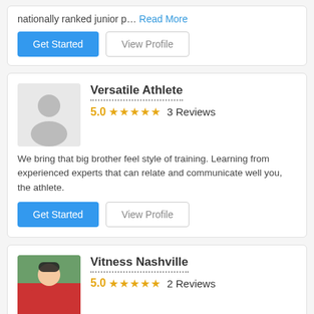nationally ranked junior p… Read More
Get Started | View Profile
Versatile Athlete
5.0 ★★★★★ 3 Reviews
We bring that big brother feel style of training. Learning from experienced experts that can relate and communicate well you, the athlete.
Get Started | View Profile
Vitness Nashville
5.0 ★★★★★ 2 Reviews
Hi, my name is Kolbrin Vitek. I was a 1st round draft pick of the Boston Red Sox in 2010 but unfortunately had to retire due to injury. Now I focus o… Read More